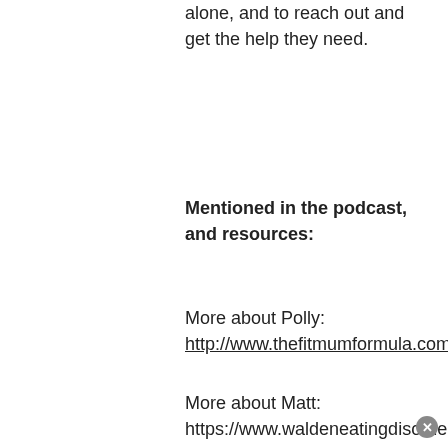alone, and to reach out and get the help they need.
Mentioned in the podcast, and resources:
More about Polly: http://www.thefitmumformula.com/
More about Matt: https://www.waldeneatingdisorders.com/an-interview-with-goals-